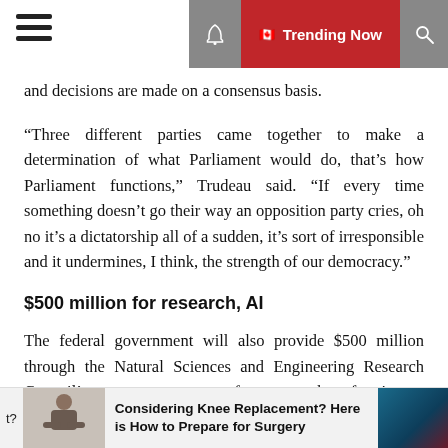Trending Now
and decisions are made on a consensus basis.
“Three different parties came together to make a determination of what Parliament would do, that’s how Parliament functions,” Trudeau said. “If every time something doesn’t go their way an opposition party cries, oh no it’s a dictatorship all of a sudden, it’s sort of irresponsible and it undermines, I think, the strength of our democracy.”
$500 million for research, AI
The federal government will also provide $500 million through the Natural Sciences and Engineering Research Council’s grants program for research of viruses, developing AI and chemical engineering discoveries.
The Canadian Fish and Seafood Opportunities Fund is
t?  Considering Knee Replacement? Here is How to Prepare for Surgery